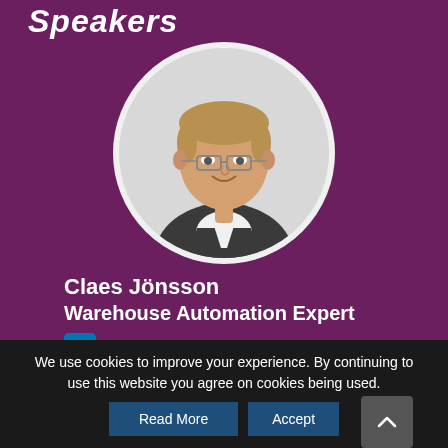Speakers
[Figure (photo): Circular headshot of Claes Jönsson, a man with glasses and short blonde hair wearing a dark sweater over a white collared shirt, smiling, on a light background.]
Claes Jönsson
Warehouse Automation Expert
[Figure (logo): LinkedIn icon — blue square with white 'in' text]
We use cookies to improve your experience. By continuing to use this website you agree on cookies being used.
Read More
Accept